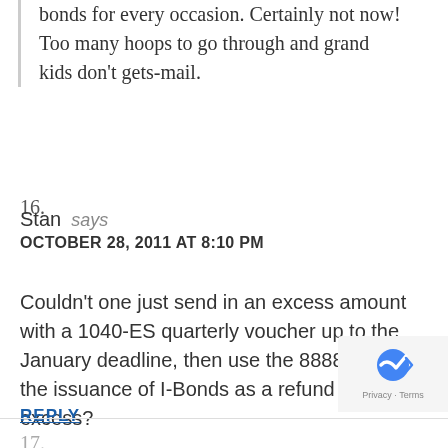bonds for every occasion. Certainly not now! Too many hoops to go through and grand kids don't gets-mail.
16.
Stan says
OCTOBER 28, 2011 AT 8:10 PM
Couldn't one just send in an excess amount with a 1040-ES quarterly voucher up to the January deadline, then use the 8888 form for the issuance of I-Bonds as a refund of the excess?
REPLY
17.